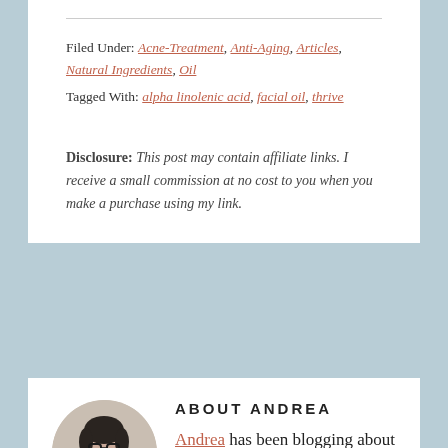Filed Under: Acne-Treatment, Anti-Aging, Articles, Natural Ingredients, Oil
Tagged With: alpha linolenic acid, facial oil, thrive
Disclosure: This post may contain affiliate links. I receive a small commission at no cost to you when you make a purchase using my link.
ABOUT ANDREA
[Figure (photo): Circular headshot photo of Andrea, a woman with dark hair and glasses, wearing a light scarf, hands clasped near face]
Andrea has been blogging about organic and natural